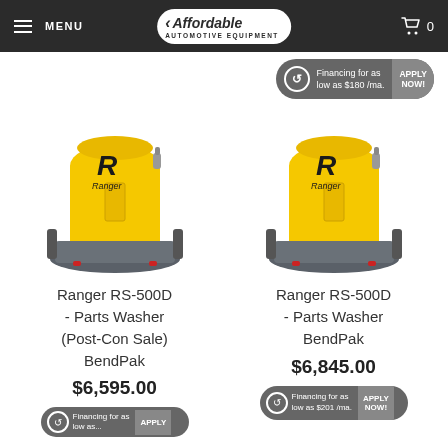MENU | Affordable Automotive Equipment | $5,430.00 | Cart 0
Financing for as low as $180 /ma. APPLY NOW!
[Figure (photo): Ranger RS-500D Parts Washer - yellow cylindrical unit with Ranger logo on grey wheeled base]
Ranger RS-500D - Parts Washer (Post-Con Sale) BendPak
$6,595.00
Financing for as
APPLY
[Figure (photo): Ranger RS-500D Parts Washer - yellow cylindrical unit with Ranger logo on grey wheeled base]
Ranger RS-500D - Parts Washer BendPak
$6,845.00
Financing for as low as $201 /ma. APPLY NOW!